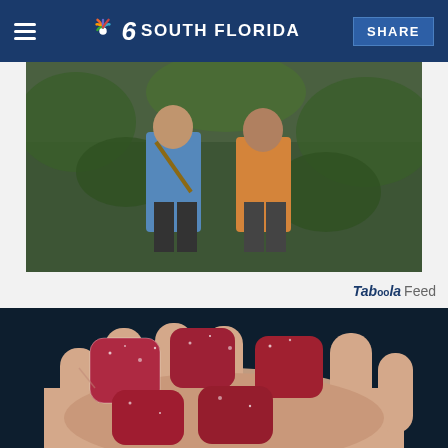NBC 6 SOUTH FLORIDA | SHARE
[Figure (photo): Two people standing in a jungle/forest setting, one wearing a blue shirt and one wearing an orange patterned outfit]
Tabóola Feed
[Figure (photo): Close-up of a hand holding several red sugar-coated gummy candies against a dark background]